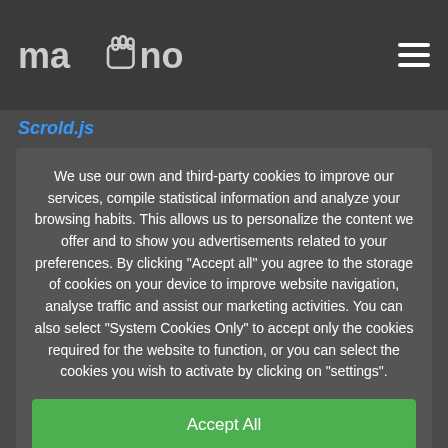mano (logo with hand icon)
Scrold.js
We use our own and third-party cookies to improve our services, compile statistical information and analyze your browsing habits. This allows us to personalize the content we offer and to show you advertisements related to your preferences. By clicking "Accept all" you agree to the storage of cookies on your device to improve website navigation, analyse traffic and assist our marketing activities. You can also select "System Cookies Only" to accept only the cookies required for the website to function, or you can select the cookies you wish to activate by clicking on "settings".
Accept All
Only sistem cookies
Configuration